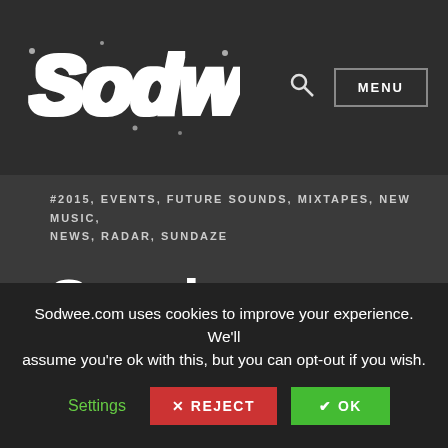[Figure (logo): Sodwee logo in white graffiti-style lettering on dark background]
#2015, EVENTS, FUTURE SOUNDS, MIXTAPES, NEW MUSIC, NEWS, RADAR, SUNDAZE
Sundaze #130 – Art by Paul Grelet –
Sodwee.com uses cookies to improve your experience. We'll assume you're ok with this, but you can opt-out if you wish.
Settings  ✕ REJECT  ✔ OK